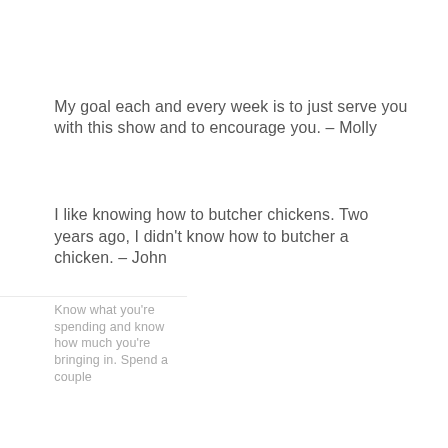My goal each and every week is to just serve you with this show and to encourage you. – Molly
I like knowing how to butcher chickens. Two years ago, I didn't know how to butcher a chicken. – John
Know what you're spending and know how much you're bringing in. Spend a couple